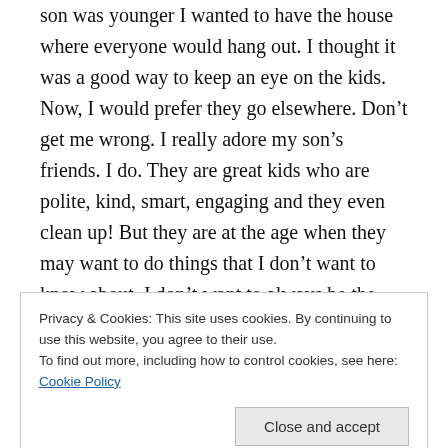son was younger I wanted to have the house where everyone would hang out. I thought it was a good way to keep an eye on the kids. Now, I would prefer they go elsewhere. Don't get me wrong. I really adore my son's friends. I do. They are great kids who are polite, kind, smart, engaging and they even clean up! But they are at the age when they may want to do things that I don't want to know about. I don't want to always be the parent who will have to say no. So, as a deterrent, I will hide the snacks and fall asleep on the couch when his friends come over. Or maybe I will sit at the counter
Privacy & Cookies: This site uses cookies. By continuing to use this website, you agree to their use.
To find out more, including how to control cookies, see here: Cookie Policy
is often, in case you were worried) I will take him out